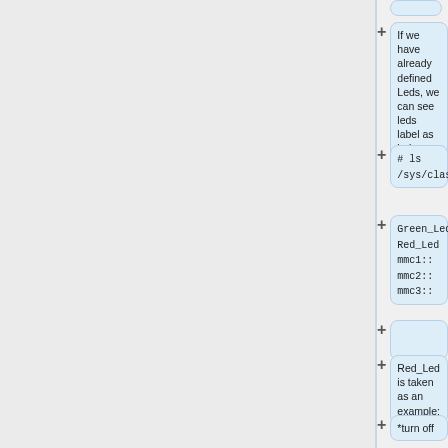[Figure (flowchart): A flowchart/diagram showing a sequence of steps with plus signs and rounded-rectangle bubbles. Steps include: (partial top bubble), 'If we have already defined Leds, we can see leds label as below', '# ls /sys/class/leds/', 'Green_Led  Red_Led  mmc1::  mmc2::  mmc3::', (empty bubble), 'Red_Led is taken as an example:', '*turn off', '# echo 0 >'.]